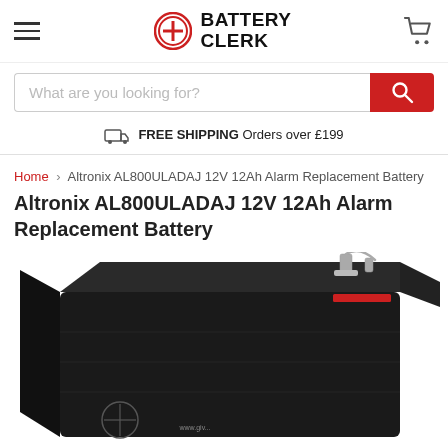BATTERY CLERK
What are you looking for?
FREE SHIPPING Orders over £199
Home > Altronix AL800ULADAJ 12V 12Ah Alarm Replacement Battery
Altronix AL800ULADAJ 12V 12Ah Alarm Replacement Battery
[Figure (photo): Black rectangular 12V 12Ah sealed lead-acid battery viewed from an angle, showing the top and front faces, with metal terminals on top right and a red label strip near the base of the terminals.]